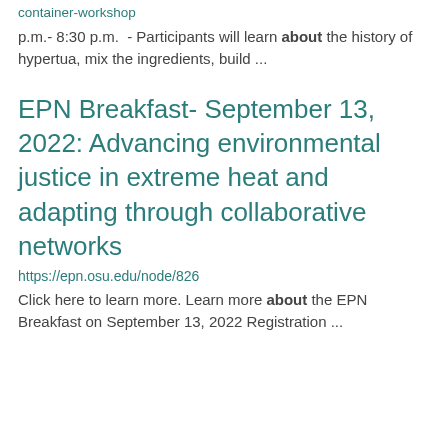https://extension.osu.edu/events/premium/portal/container-workshop
p.m.- 8:30 p.m.  - Participants will learn about the history of hypertua, mix the ingredients, build ...
EPN Breakfast- September 13, 2022: Advancing environmental justice in extreme heat and adapting through collaborative networks
https://epn.osu.edu/node/826
Click here to learn more. Learn more about the EPN Breakfast on September 13, 2022 Registration ...